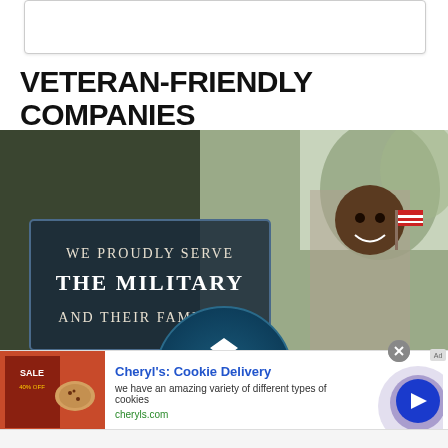VETERAN-FRIENDLY COMPANIES
[Figure (photo): USAA advertisement banner showing a smiling Black child holding an American flag outdoors with text 'WE PROUDLY SERVE THE MILITARY AND THEIR FAMILIES.' overlaid on left side, USAA logo (circular teal badge with eagle and waves) centered at bottom]
[Figure (infographic): Advertisement banner for Cheryl's: Cookie Delivery showing cookie/food product images on left, text 'Cheryl's: Cookie Delivery - we have an amazing variety of different types of cookies - cheryls.com', and a circular blue play button on the right with close (X) button]